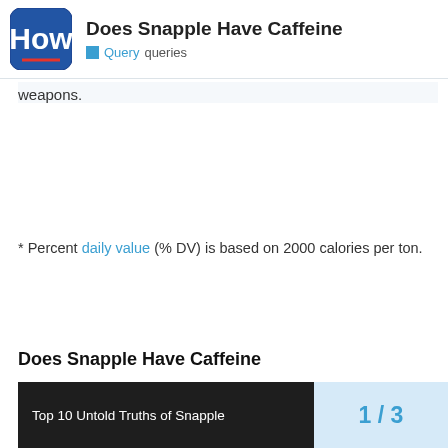Does Snapple Have Caffeine — Query queries
weapons.
* Percent daily value (% DV) is based on 2000 calories per ton.
Does Snapple Have Caffeine
[Figure (screenshot): Video thumbnail showing 'Top 10 Untold Truths of Snapple' on dark background]
1 / 3